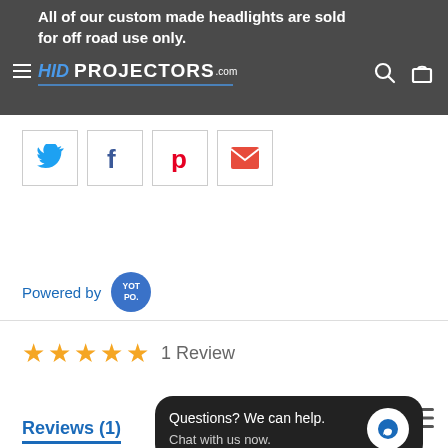All of our custom made headlights are sold for off road use only. HID PROJECTORS .com
[Figure (infographic): Social share buttons: Twitter (blue bird), Facebook (f), Pinterest (p), Email (envelope)]
Powered by YOTPO
★★★★★  1 Review
Reviews (1)
Questions? We can help. Chat with us now.